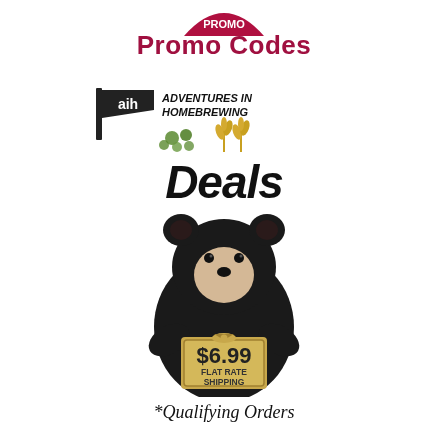[Figure (logo): Partial red arc logo at top with Promo Codes text below]
Promo Codes
[Figure (logo): Adventures in Homebrewing logo with flag, hops, and wheat imagery]
Deals
[Figure (illustration): Black bear holding a sign that reads $6.99 Flat Rate Shipping]
*Qualifying Orders